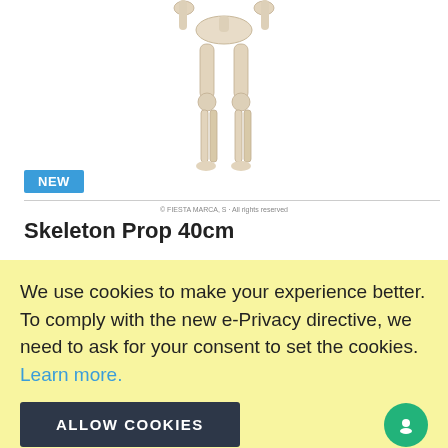[Figure (photo): Partial view of a 40cm skeleton prop toy/decoration on white background, showing lower body/legs]
NEW
© FIESTA, MARCA, S. All rights reserved
Skeleton Prop 40cm
£11.99  £16.99
ADD TO CART
We use cookies to make your experience better. To comply with the new e-Privacy directive, we need to ask for your consent to set the cookies. Learn more.
ALLOW COOKIES